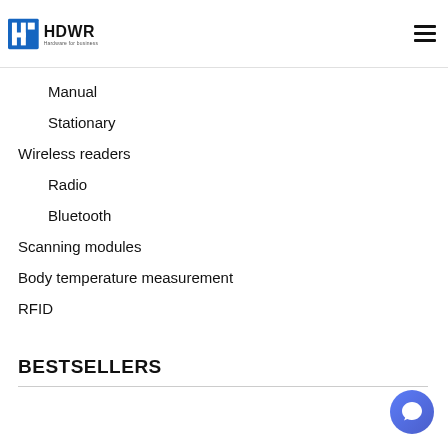[Figure (logo): HDWR Hardware for business logo — blue square icon with H letter cutout on left, bold HDWR text on right, tagline 'Hardware for business' below in smaller text]
Manual
Stationary
Wireless readers
Radio
Bluetooth
Scanning modules
Body temperature measurement
RFID
BESTSELLERS